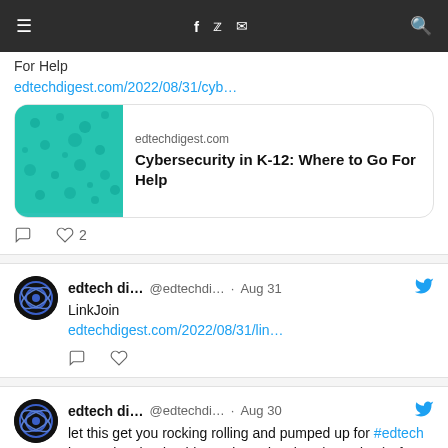≡  f  𝕏  ✉  🔍
For Help
edtechdigest.com/2022/08/31/cyb…
[Figure (screenshot): Link preview card showing teal/green microscopy image on left and text 'edtechdigest.com / Cybersecurity in K-12: Where to Go For Help' on right]
💬  ♡ 2
edtech di...  @edtechdi…  · Aug 31  [Twitter bird icon]
LinkJoin
edtechdigest.com/2022/08/31/lin…
💬  ♡
edtech di...  @edtechdi…  · Aug 30  [Twitter bird icon]
let this get you rocking rolling and pumped up for #edtech innovation, leadership, and trendsetting:  (sound up) after video, click